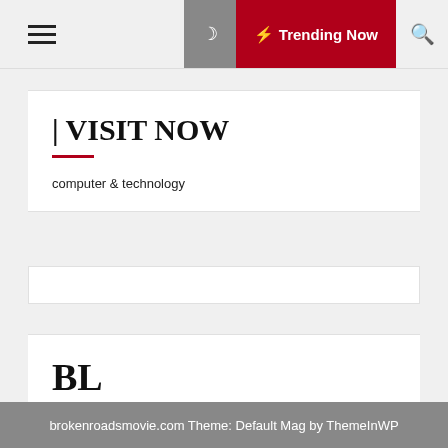☰ ☾ ⚡ Trending Now 🔍
| VISIT NOW
computer & technology
BL
brokenroadsmovie.com Theme: Default Mag by ThemeInWP